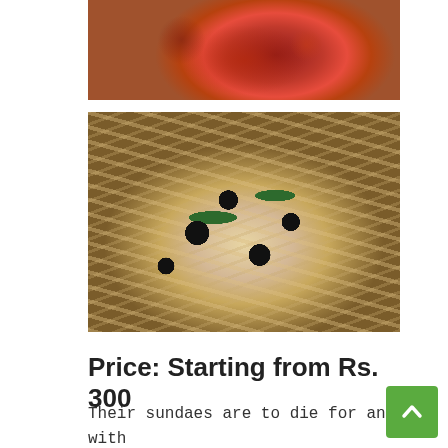[Figure (photo): Close-up photo of a deep dish pizza with thick red tomato sauce and seasoning on top, golden crust visible at edges]
[Figure (photo): Overhead photo of a loaded pasta/fries dish on a black skillet with black olives, green jalapeños, onions and cheese]
Price: Starting from Rs. 300
Their sundaes are to die for and with that comes a whole list of mouth